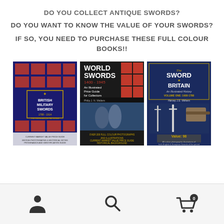DO YOU COLLECT ANTIQUE SWORDS?
DO YOU WANT TO KNOW THE VALUE OF YOUR SWORDS?
IF SO, YOU NEED TO PURCHASE THESE FULL COLOUR BOOKS!!
[Figure (photo): Three book covers displayed side by side: 'British Military Swords', 'World Swords 1400-1945 An Illustrated Price Guide for Collectors', and 'The Sword in Britain An Illustrated History Volume One 1600-1780']